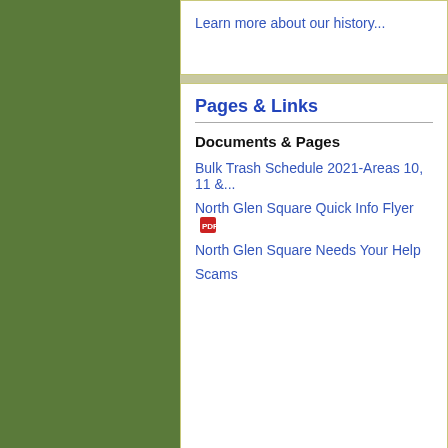Learn more about our history...
Pages & Links
Documents & Pages
Bulk Trash Schedule 2021-Areas 10, 11...
North Glen Square Quick Info Flyer [PDF icon]
North Glen Square Needs Your Help
Scams
Discussions
This site's Discussions are visible only to site members...
HOA Website by Neighborhood Link | Arizona...
©1997 - 2022 Neighborhood Link, Inc. Our Terms of Use